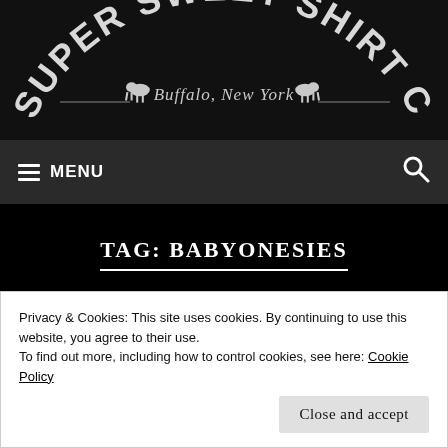[Figure (logo): Super Sweet Shirt Co logo with text arched at top, Buffalo New York tagline, and bison silhouettes on dark background]
≡ MENU   🔍
TAG: BABYONESIES
Privacy & Cookies: This site uses cookies. By continuing to use this website, you agree to their use.
To find out more, including how to control cookies, see here: Cookie Policy
Close and accept